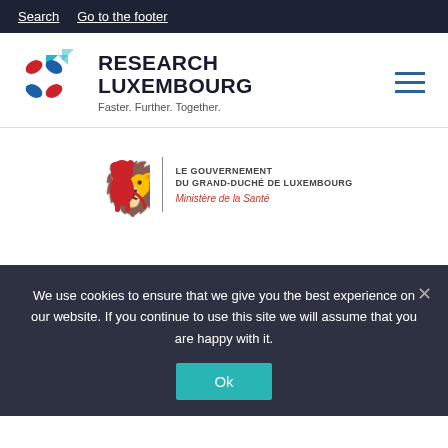Search   Go to the footer
[Figure (logo): Research Luxembourg logo with colored leaf shapes and text 'RESEARCH LUXEMBOURG - Faster. Further. Together.' and hamburger menu icon]
[Figure (logo): Le Gouvernement du Grand-Duché de Luxembourg - Ministère de la Santé logo with red lion heraldic symbol]
We use cookies to ensure that we give you the best experience on our website. If you continue to use this site we will assume that you are happy with it.
Ok